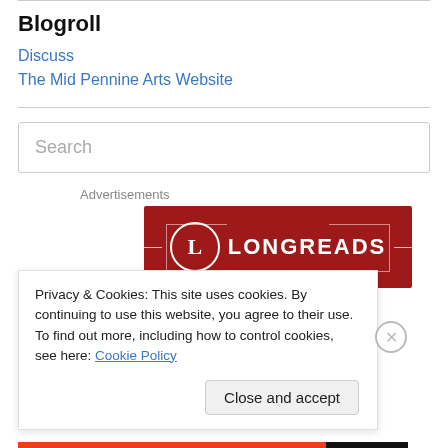Blogroll
Discuss
The Mid Pennine Arts Website
Search
Advertisements
[Figure (logo): Longreads red banner logo with white circular L icon and LONGREADS text]
Privacy & Cookies: This site uses cookies. By continuing to use this website, you agree to their use.
To find out more, including how to control cookies, see here: Cookie Policy
Close and accept